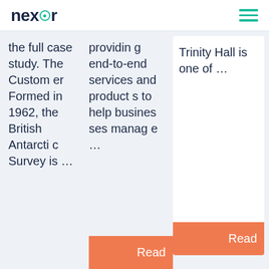nexstor
the full case study. The Customer Formed in 1962, the British Antarctic Survey is ...
providing end-to-end services and products to help businesses manage ...
Trinity Hall is one of ...
Read
Read